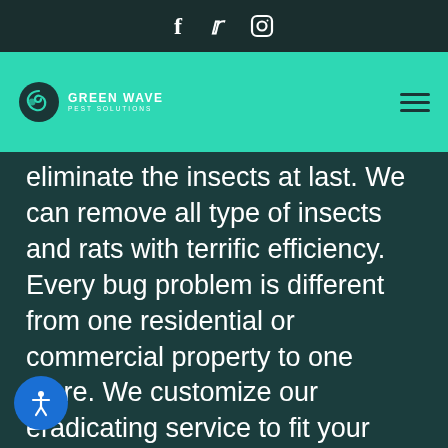f  🐦  ⬡ (social media icons: Facebook, Twitter, Instagram)
[Figure (logo): Green Wave Pest Solutions logo with circular swirl icon in white on teal background]
eliminate the insects at last. We can remove all type of insects and rats with terrific efficiency. Every bug problem is different from one residential or commercial property to one more. We customize our eradicating service to fit your unique bug issues. Our firm uses cutting edge tools and environmental-friendly items to deliver optimal outcomes. From rodent control to cockroach elimination, there is no task that our pest control operators can refrain